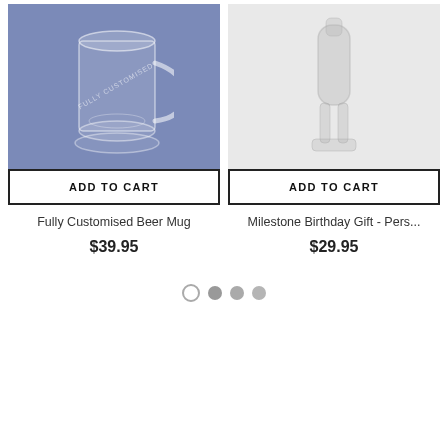[Figure (photo): Glass beer mug on blue/purple background with 'FULLY CUSTOMISED' text engraved]
ADD TO CART
Fully Customised Beer Mug
$39.95
[Figure (photo): Milestone birthday gift product image on light grey background]
ADD TO CART
Milestone Birthday Gift - Pers...
$29.95
[Figure (other): Pagination dots: one empty circle, three filled grey circles]